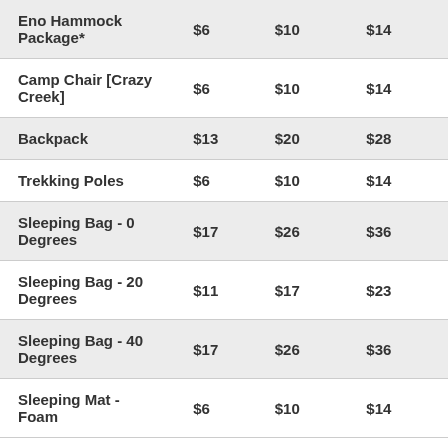| Eno Hammock Package* | $6 | $10 | $14 |
| Camp Chair [Crazy Creek] | $6 | $10 | $14 |
| Backpack | $13 | $20 | $28 |
| Trekking Poles | $6 | $10 | $14 |
| Sleeping Bag - 0 Degrees | $17 | $26 | $36 |
| Sleeping Bag - 20 Degrees | $11 | $17 | $23 |
| Sleeping Bag - 40 Degrees | $17 | $26 | $36 |
| Sleeping Mat - Foam | $6 | $10 | $14 |